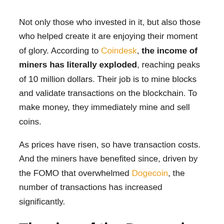Not only those who invested in it, but also those who helped create it are enjoying their moment of glory. According to Coindesk, the income of miners has literally exploded, reaching peaks of 10 million dollars. Their job is to mine blocks and validate transactions on the blockchain. To make money, they immediately mine and sell coins.
As prices have risen, so have transaction costs. And the miners have benefited since, driven by the FOMO that overwhelmed Dogecoin, the number of transactions has increased significantly.
The rise of the Dogecoin price and the benefit for miners
Dogecoin has experienced an incredible price rise. Driven